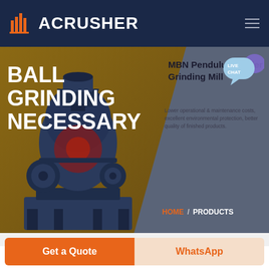ACRUSHER
BALL GRINDING NECESSARY
MBN Pendulum Roller Grinding Mill
Lower operational & maintenance costs, excellent environmental protection, better quality of finished products.
HOME / PRODUCTS
[Figure (screenshot): Website screenshot of ACRUSHER product page showing a dark navy header with orange logo, a hero banner with brown/grey diagonal split background, an industrial ball grinding machine image on the left, and large white bold text reading BALL GRINDING NECESSARY. A live chat bubble appears top right. Breadcrumb navigation shows HOME / PRODUCTS.]
Get a Quote
WhatsApp